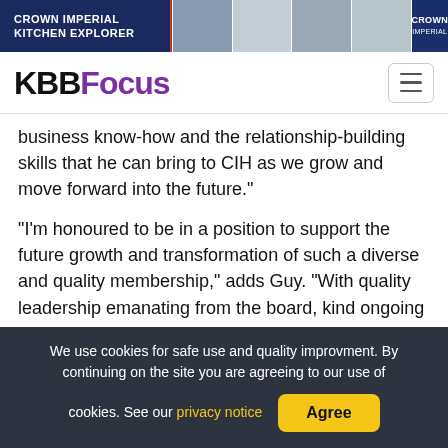[Figure (screenshot): Crown Imperial Kitchen Explorer banner advertisement with dark blue, red and grey panels showing kitchen images and Crown logo]
KBBFocus
business know-how and the relationship-building skills that he can bring to CIH as we grow and move forward into the future."
"I'm honoured to be in a position to support the future growth and transformation of such a diverse and quality membership," adds Guy. “With quality leadership emanating from the board, kind ongoing
We use cookies for safe use and quality improvment. By continuing on the site you are agreeing to our use of cookies. See our privacy notice Agree